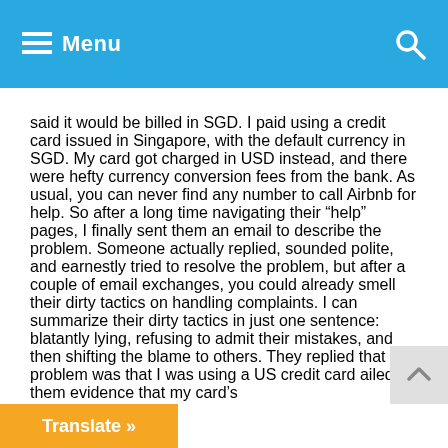Menu
said it would be billed in SGD. I paid using a credit card issued in Singapore, with the default currency in SGD. My card got charged in USD instead, and there were hefty currency conversion fees from the bank. As usual, you can never find any number to call Airbnb for help. So after a long time navigating their “help” pages, I finally sent them an email to describe the problem. Someone actually replied, sounded polite, and earnestly tried to resolve the problem, but after a couple of email exchanges, you could already smell their dirty tactics on handling complaints. I can summarize their dirty tactics in just one sentence: blatantly lying, refusing to admit their mistakes, and then shifting the blame to others. They replied that the problem was that I was using a US credit card ailed them evidence that my card’s